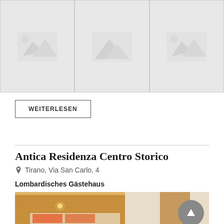[Figure (photo): Three placeholder image slots showing mountain/landscape icons on grey background]
WEITERLESEN
Antica Residenza Centro Storico
Tirano, Via San Carlo, 4
Lombardisches Gästehaus
[Figure (photo): Interior photo of a hotel room with wooden paneled walls and warm lighting]